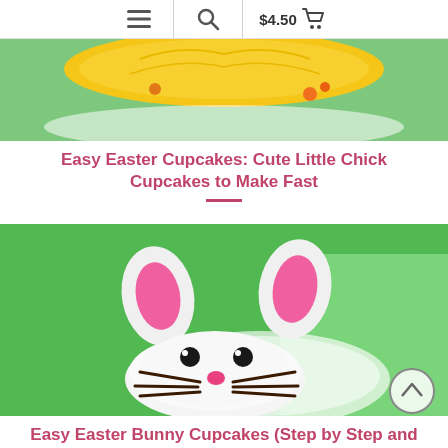≡  🔍  $4.50  🛒
[Figure (photo): Easter cupcake decorated as a chick, with yellow frosting and orange candy, on a green background with a bowl]
Easy Easter Cupcakes: Cute Little Chick Cupcakes to Make Fast
[Figure (photo): Easter bunny cupcake decorated with marshmallow ears with pink sugar, black candy eyes, pink candy nose, and chocolate stick whiskers, on a green background with a plate]
Easy Easter Bunny Cupcakes (Step by Step and Video)